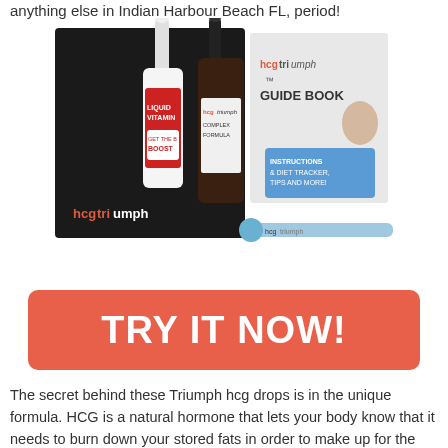anything else in Indian Harbour Beach FL, period!
[Figure (photo): HCG Triumph product kit showing a black box, liquid vitamin dropper bottle with red label saying 'LIQUID VITAMIN GET THE B BOOST', a dark bottle labeled 'hcg triumph COMPLEX FORMULA', a guide book labeled 'hcgtriumph GUIDE BOOK', and an injector tool, all arranged together.]
TRY IT NOW!
The secret behind these Triumph hcg drops is in the unique formula. HCG is a natural hormone that lets your body know that it needs to burn down your stored fats in order to make up for the lower intake of calories. What this means for you in Indian Harbour Beach FL, is that by sticking to the Triumph